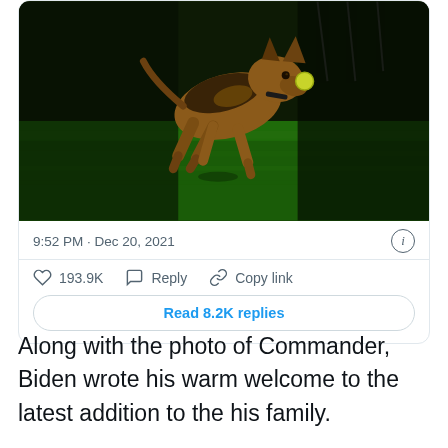[Figure (photo): A German Shepherd puppy running on green grass with a ball in its mouth, photographed against a dark background with chain link fence visible.]
9:52 PM · Dec 20, 2021
193.9K   Reply   Copy link
Read 8.2K replies
Along with the photo of Commander, Biden wrote his warm welcome to the latest addition to the his family.